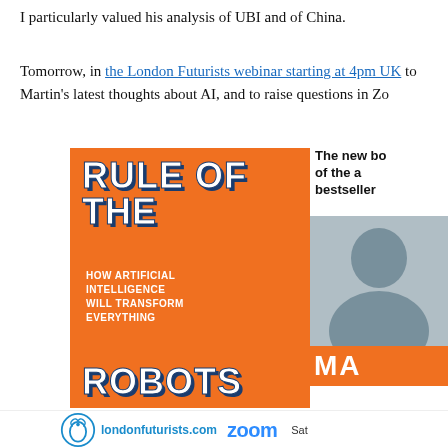I particularly valued his analysis of UBI and of China.
Tomorrow, in the London Futurists webinar starting at 4pm UK to Martin's latest thoughts about AI, and to raise questions in Zo
[Figure (illustration): Book cover and advertisement for 'Rule of the Robots: How Artificial Intelligence Will Transform Everything' with London Futurists branding, Zoom logo, and partial author photo and name bar showing 'MA']